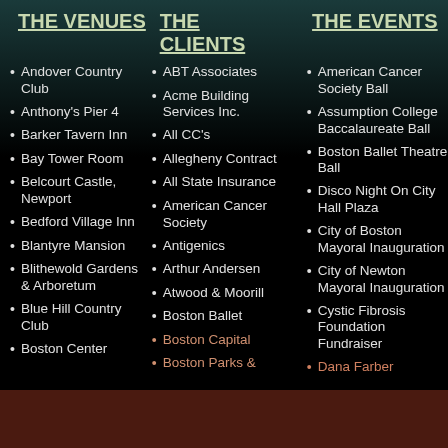THE VENUES
THE CLIENTS
THE EVENTS
Andover Country Club
Anthony's Pier 4
Barker Tavern Inn
Bay Tower Room
Belcourt Castle, Newport
Bedford Village Inn
Blantyre Mansion
Blithewold Gardens & Arboretum
Blue Hill Country Club
Boston Center
ABT Associates
Acme Building Services Inc.
All CC's
Allegheny Contract
All State Insurance
American Cancer Society
Antigenics
Arthur Andersen
Atwood & Moorill
Boston Ballet
Boston Capital
Boston Parks &
American Cancer Society Ball
Assumption College Baccalaureate Ball
Boston Ballet Theatre Ball
Disco Night On City Hall Plaza
City of Boston Mayoral Inauguration
City of Newton Mayoral Inauguration
Cystic Fibrosis Foundation Fundraiser
Dana Farber